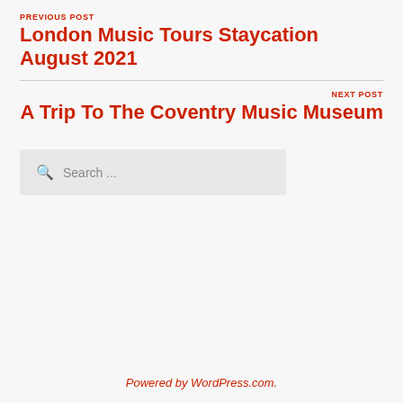PREVIOUS POST
London Music Tours Staycation August 2021
NEXT POST
A Trip To The Coventry Music Museum
Search ...
Powered by WordPress.com.